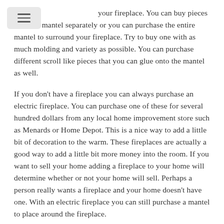your fireplace. You can buy pieces for your mantel separately or you can purchase the entire mantel to surround your fireplace. Try to buy one with as much molding and variety as possible. You can purchase different scroll like pieces that you can glue onto the mantel as well.
If you don't have a fireplace you can always purchase an electric fireplace. You can purchase one of these for several hundred dollars from any local home improvement store such as Menards or Home Depot. This is a nice way to add a little bit of decoration to the warm. These fireplaces are actually a good way to add a little bit more money into the room. If you want to sell your home adding a fireplace to your home will determine whether or not your home will sell. Perhaps a person really wants a fireplace and your home doesn't have one. With an electric fireplace you can still purchase a mantel to place around the fireplace.
You can go to the craft store and purchase different items that you can place on the mantel such as decorative vases with floral arrangements. You can also purchase fake pieces of fruit which will add a little bit more color and life to your fireplace. You never want to make your fireplace feel